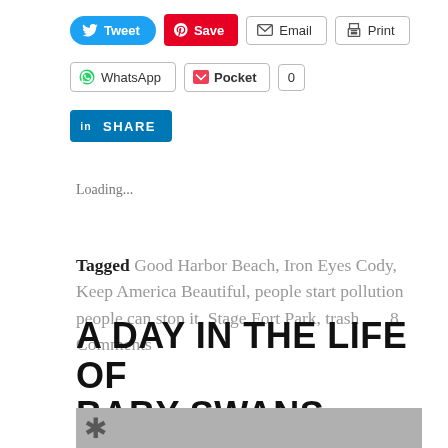Tweet  Save  Email  Print
WhatsApp  Pocket  0
SHARE
Loading...
Tagged Good Harbor Beach, Iron Eyes Cody, Keep America Beautiful, people start pollution people can stop it, Stage Fort Park, trash   8 Comments
A DAY IN THE LIFE OF BABY SWANS
Posted on June 12, 2017 by Kimsmithdesigns
[Figure (photo): Partial image strip at bottom of page, gray toned photo with tree branch silhouette visible]